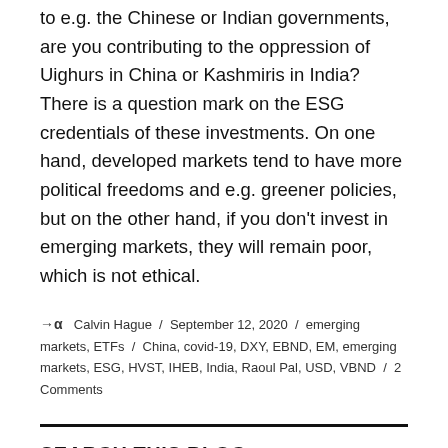market investments are ethical concerns. If you lend to e.g. the Chinese or Indian governments, are you contributing to the oppression of Uighurs in China or Kashmiris in India? There is a question mark on the ESG credentials of these investments. On one hand, developed markets tend to have more political freedoms and e.g. greener policies, but on the other hand, if you don't invest in emerging markets, they will remain poor, which is not ethical.
→α Calvin Hague / September 12, 2020 / emerging markets, ETFs / China, covid-19, DXY, EBND, EM, emerging markets, ESG, HVST, IHEB, India, Raoul Pal, USD, VBND / 2 Comments
SEARCH THIS BLOG